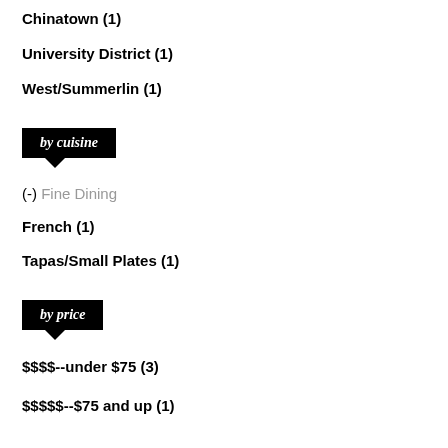Chinatown (1)
University District (1)
West/Summerlin (1)
by cuisine
(-) Fine Dining
French (1)
Tapas/Small Plates (1)
by price
$$$$--under $75 (3)
$$$$$--$75 and up (1)